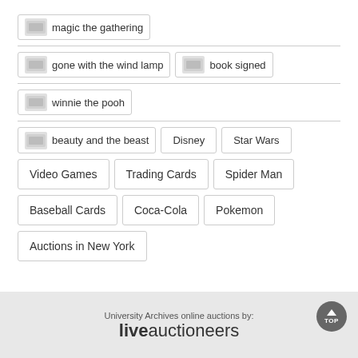magic the gathering
gone with the wind lamp
book signed
winnie the pooh
beauty and the beast
Disney
Star Wars
Video Games
Trading Cards
Spider Man
Baseball Cards
Coca-Cola
Pokemon
Auctions in New York
University Archives online auctions by: liveauctioneers